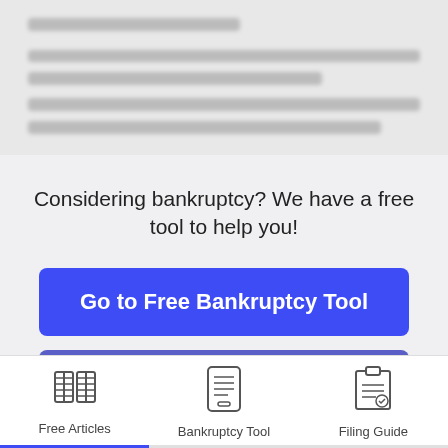[blurred/redacted text content]
Considering bankruptcy? We have a free tool to help you!
Go to Free Bankruptcy Tool
Keep Reading
[Figure (illustration): Book icon representing Free Articles]
Free Articles
[Figure (illustration): Mobile phone/tool icon representing Bankruptcy Tool]
Bankruptcy Tool
[Figure (illustration): Clipboard/checklist icon representing Filing Guide]
Filing Guide